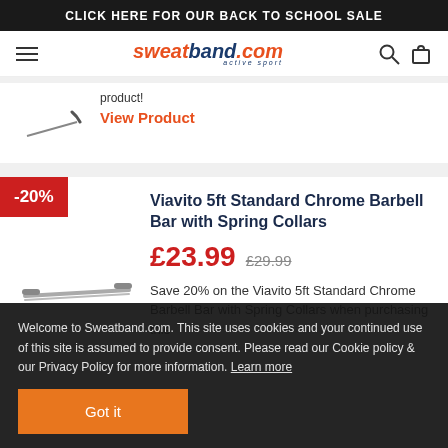CLICK HERE FOR OUR BACK TO SCHOOL SALE
[Figure (logo): sweatband.com active sport logo with hamburger menu, search and cart icons]
product!
View Product
-20%
Viavito 5ft Standard Chrome Barbell Bar with Spring Collars
£23.99  £29.99
Save 20% on the Viavito 5ft Standard Chrome Barbell Bar with Spring Collars when purchasing this
Welcome to Sweatband.com. This site uses cookies and your continued use of this site is assumed to provide consent. Please read our Cookie policy & our Privacy Policy for more information. Learn more
Got it